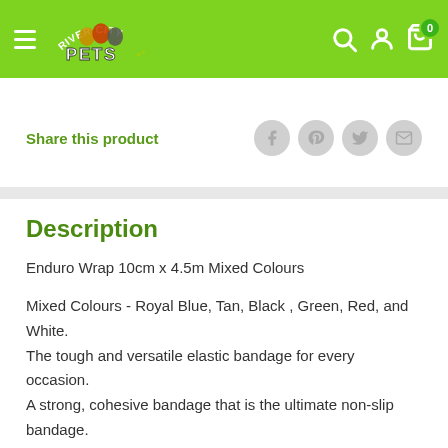River City Pets — navigation header with logo, hamburger menu, search, account, and cart icons
Share this product
Description
Enduro Wrap 10cm x 4.5m Mixed Colours
Mixed Colours - Royal Blue, Tan, Black , Green, Red, and White. The tough and versatile elastic bandage for every occasion. A strong, cohesive bandage that is the ultimate non-slip bandage.